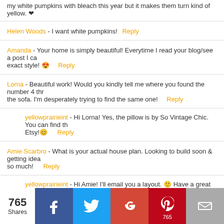my white pumpkins with bleach this year but it makes them turn kind of yellow. [emoji]
Helen Woods - I want white pumpkins!  Reply
Amanda - Your home is simply beautiful! Everytime I read your blog/see a post I ca... exact style! [emoji]  Reply
Lorna - Beautiful work! Would you kindly tell me where you found the number 4 thr... the sofa. I'm desperately trying to find the same one!  Reply
yellowprairieint - Hi Lorna! Yes, the pillow is by So Vintage Chic. You can find th... Etsy![emoji]  Reply
Amie Scarbro - What is your actual house plan. Looking to build soon & getting idea... so much!  Reply
yellowprairieint - Hi Amie! I'll email you a layout. [emoji] Have a great day!  Reply
Kim - Your home is amazing! Do you mind me asking what paint brand/color you us...  Reply
[Figure (infographic): Social share bar with 765 shares count, Facebook, Twitter, Google+, Pinterest (765), and Email buttons]